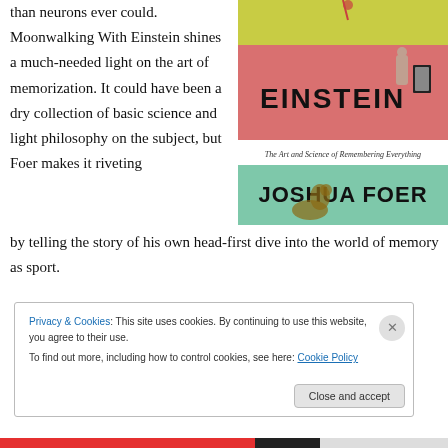than neurons ever could. Moonwalking With Einstein shines a much-needed light on the art of memorization. It could have been a dry collection of basic science and light philosophy on the subject, but Foer makes it riveting by telling the story of his own head-first dive into the world of memory as sport.
[Figure (illustration): Book cover of 'Moonwalking with Einstein: The Art and Science of Remembering Everything' by Joshua Foer. Features colorful illustrated panels with figures and a kangaroo.]
Privacy & Cookies: This site uses cookies. By continuing to use this website, you agree to their use. To find out more, including how to control cookies, see here: Cookie Policy